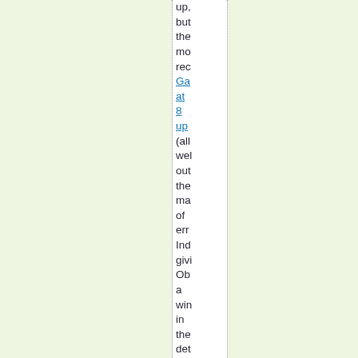up, but the mo rec Ga at 8 up (all wel out the ma of err Ind givi Ob a win in the det by 2:1 and a 60: adv on "les lea from the